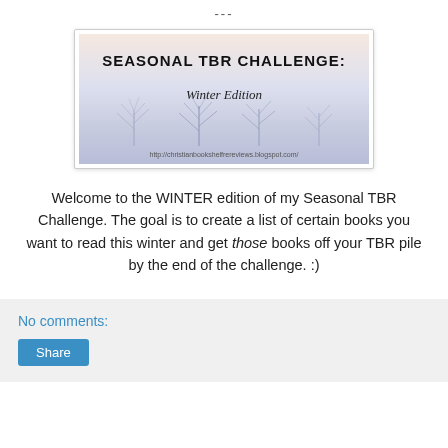---
[Figure (illustration): Banner image for Seasonal TBR Challenge: Winter Edition. Shows bare winter trees in a misty/snowy background with text overlaid. URL: http://christianbookshelfrereviews.blogspot.com/]
Welcome to the WINTER edition of my Seasonal TBR Challenge. The goal is to create a list of certain books you want to read this winter and get those books off your TBR pile by the end of the challenge. :)
No comments:
Share